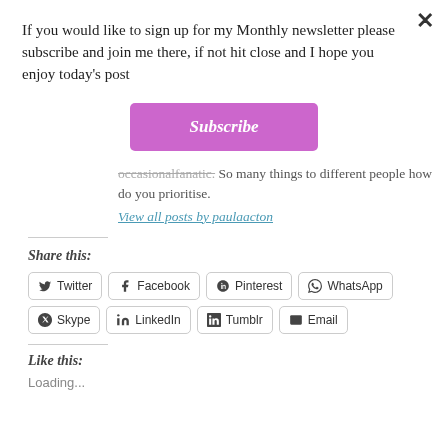If you would like to sign up for my Monthly newsletter please subscribe and join me there, if not hit close and I hope you enjoy today's post
[Figure (other): Subscribe button — pink/purple rounded rectangle with italic bold text 'Subscribe']
occasionalfanatic. So many things to different people how do you prioritise.
View all posts by paulaacton
Share this:
Twitter  Facebook  Pinterest  WhatsApp  Skype  LinkedIn  Tumblr  Email
Like this:
Loading...